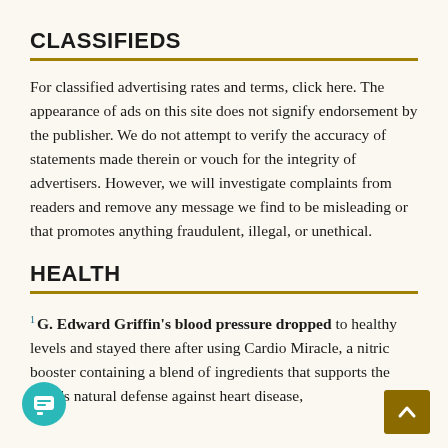CLASSIFIEDS
For classified advertising rates and terms, click here. The appearance of ads on this site does not signify endorsement by the publisher. We do not attempt to verify the accuracy of statements made therein or vouch for the integrity of advertisers. However, we will investigate complaints from readers and remove any message we find to be misleading or that promotes anything fraudulent, illegal, or unethical.
HEALTH
G. Edward Griffin's blood pressure dropped to healthy levels and stayed there after using Cardio Miracle, a nitric booster containing a blend of ingredients that supports the body's natural defense against heart disease,